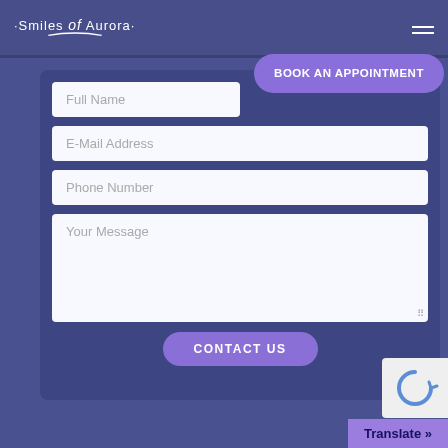[Figure (logo): Smiles of Aurora logo with white text and curved underline on dark blue/purple header]
BOOK AN APPOINTMENT
Full Name
E-Mail Address
Phone Number
Your Message
CONTACT US
[Figure (other): reCAPTCHA widget with refresh icon]
Translate »